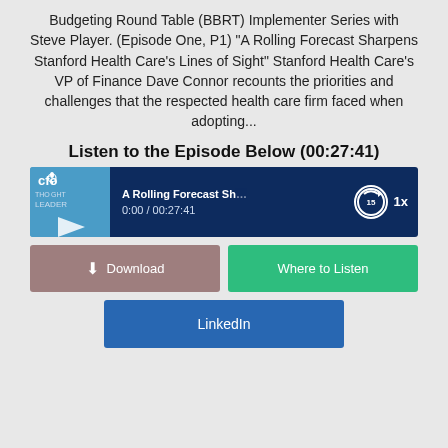Budgeting Round Table (BBRT) Implementer Series with Steve Player. (Episode One, P1) "A Rolling Forecast Sharpens Stanford Health Care's Lines of Sight" Stanford Health Care's VP of Finance Dave Connor recounts the priorities and challenges that the respected health care firm faced when adopting...
Listen to the Episode Below (00:27:41)
[Figure (screenshot): Audio player widget with CFO Thought Leader podcast logo, play button, title 'A Rolling Forecast Sh...', time display '0:00 / 00:27:41', rewind 15 seconds button, and 1x speed button on dark navy background.]
Download | Where to Listen | LinkedIn